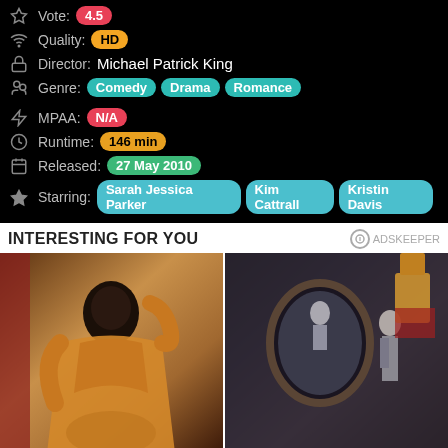Vote: 4.5
Quality: HD
Director: Michael Patrick King
Genre: Comedy Drama Romance
MPAA: N/A
Runtime: 146 min
Released: 27 May 2010
Starring: Sarah Jessica Parker  Kim Cattrall  Kristin Davis
INTERESTING FOR YOU
[Figure (photo): Woman in gold dress posing]
[Figure (photo): Horror movie scene with mirror]
These Accounts Are A Guide For Plus-size Girls To Look Their Best
7 Horror Movies For People Who Hate Them